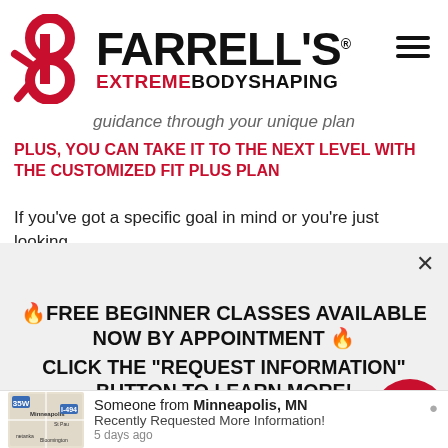[Figure (logo): Farrell's Extreme Bodyshaping logo with red stylized figure icon on left and bold black/red text on right]
guidance through your unique plan
PLUS, YOU CAN TAKE IT TO THE NEXT LEVEL WITH THE CUSTOMIZED FIT PLUS PLAN
If you've got a specific goal in mind or you're just looking
🔥FREE BEGINNER CLASSES AVAILABLE NOW BY APPOINTMENT 🔥
CLICK THE "REQUEST INFORMATION" BUTTON TO LEARN MORE!
Someone from Minneapolis, MN
Recently Requested More Information!
5 days ago